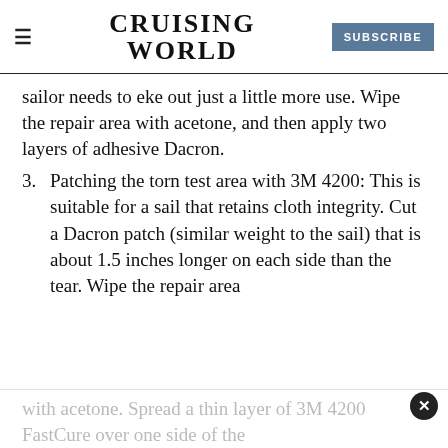CRUISING WORLD | SUBSCRIBE
sailor needs to eke out just a little more use. Wipe the repair area with acetone, and then apply two layers of adhesive Dacron.
3. Patching the torn test area with 3M 4200: This is suitable for a sail that retains cloth integrity. Cut a Dacron patch (similar weight to the sail) that is about 1.5 inches longer on each side than the tear. Wipe the repair area
with acetone. Spread a thin layer of 3M 4200 FastCure over one side of the